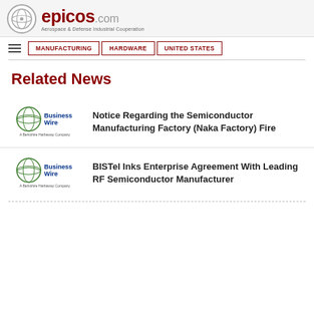epicos.com — Aerospace & Defense Industrial Cooperation
MANUFACTURING
HARDWARE
UNITED STATES
Related News
[Figure (logo): Business Wire — A Berkshire Hathaway Company logo]
Notice Regarding the Semiconductor Manufacturing Factory (Naka Factory) Fire
[Figure (logo): Business Wire — A Berkshire Hathaway Company logo]
BISTel Inks Enterprise Agreement With Leading RF Semiconductor Manufacturer